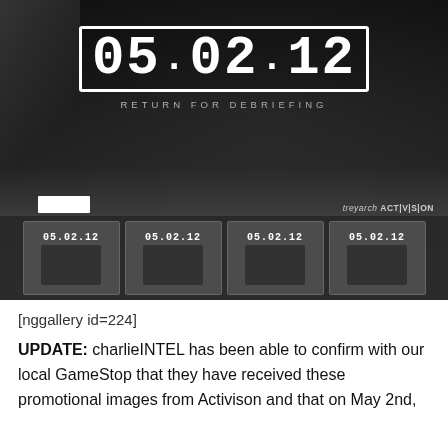[Figure (photo): Photo of a promotional display for 05.02.12 'Return for Debriefing' (Call of Duty related) showing a dark poster with the date 05.02.12 in large white text and smaller promotional cards below, with Treyarch and Activision branding.]
[nggallery id=224]
UPDATE: charlieINTEL has been able to confirm with our local GameStop that they have received these promotional images from Activison and that on May 2nd,